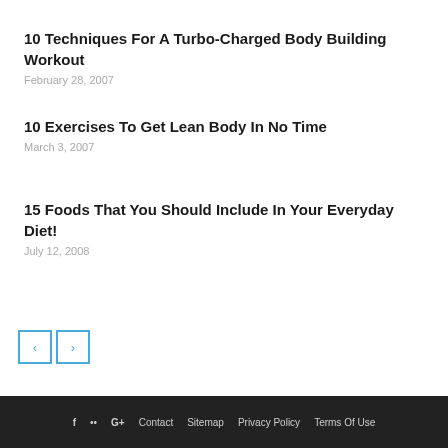10 Techniques For A Turbo-Charged Body Building Workout
February 28, 2007
10 Exercises To Get Lean Body In No Time
March 3, 2007
15 Foods That You Should Include In Your Everyday Diet!
July 12, 2008
f  ••  G+  Contact  Sitemap  Privacy Policy  Terms Of Use